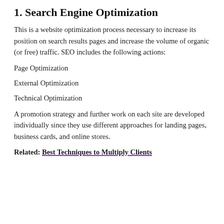1. Search Engine Optimization
This is a website optimization process necessary to increase its position on search results pages and increase the volume of organic (or free) traffic. SEO includes the following actions:
Page Optimization
External Optimization
Technical Optimization
A promotion strategy and further work on each site are developed individually since they use different approaches for landing pages, business cards, and online stores.
Related: Best Techniques to Multiply Clients